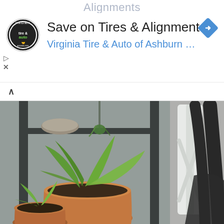Alignments
[Figure (screenshot): Google ad banner for Virginia Tire & Auto of Ashburn featuring tire and auto logo, title 'Save on Tires & Alignment', subtitle 'Virginia Tire & Auto of Ashburn ...', blue diamond navigation icon, and collapse controls]
[Figure (photo): Indoor scene with potted green plants on a dark metal shelf, a terra cotta pot with leafy plants in foreground, a white chair with black fabric bag on the right side, against a grey wall background]